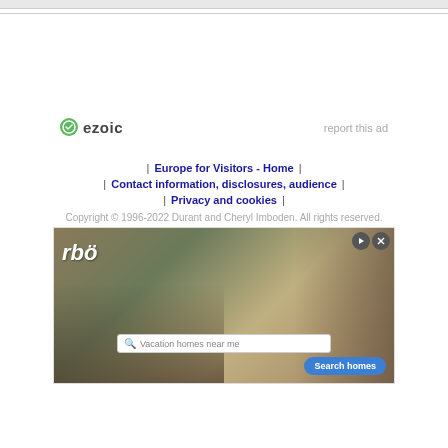[Figure (other): Ezoic ad placeholder area with ezoic logo bottom left and 'report this ad' link bottom right]
| Europe for Visitors - Home | | Contact information, disclosures, audience | | Privacy and cookies | Copyright © 1996-2022 Durant and Cheryl Imboden. All rights reserved.
[Figure (photo): Ad banner showing vacation homes / Vrbo advertisement with people loading luggage into a vehicle, a search bar reading 'Vacation homes near me', and a 'Search homes' button]